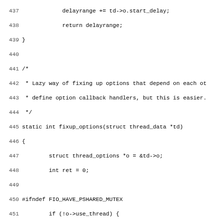Source code listing lines 437-468, C language, showing delayrange and fixup_options functions